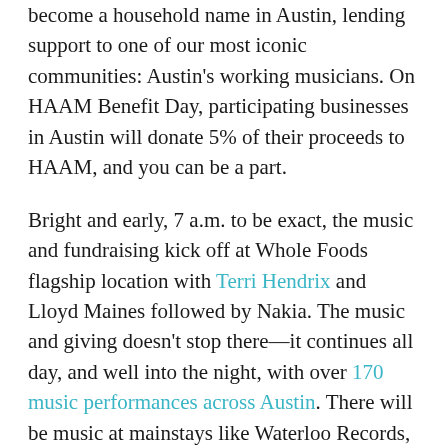become a household name in Austin, lending support to one of our most iconic communities: Austin's working musicians. On HAAM Benefit Day, participating businesses in Austin will donate 5% of their proceeds to HAAM, and you can be a part.
Bright and early, 7 a.m. to be exact, the music and fundraising kick off at Whole Foods flagship location with Terri Hendrix and Lloyd Maines followed by Nakia. The music and giving doesn't stop there—it continues all day, and well into the night, with over 170 music performances across Austin. There will be music at mainstays like Waterloo Records, Jovita's and Saxon Pub, as well as tunes carrying people through the work day at the Frost Tower and Silicon Labs.
The event culminates in a special VIP party taking place